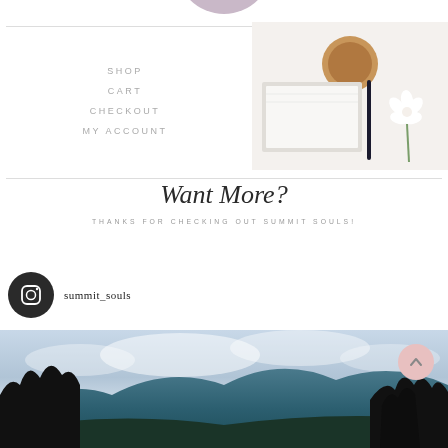[Figure (illustration): Partial mauve/lavender circle logo at top center, cropped at top edge]
SHOP
CART
CHECKOUT
MY ACCOUNT
[Figure (photo): Flat lay photo showing a coffee cup, notebook/magazine, pen, and white flower on white background]
Want More?
THANKS FOR CHECKING OUT SUMMIT SOULS!
[Figure (logo): Instagram icon in dark circle]
summit_souls
[Figure (photo): Landscape mountain photo with trees in foreground and cloudy sky]
[Figure (illustration): Pink scroll-to-top button with upward chevron arrow, bottom right corner]